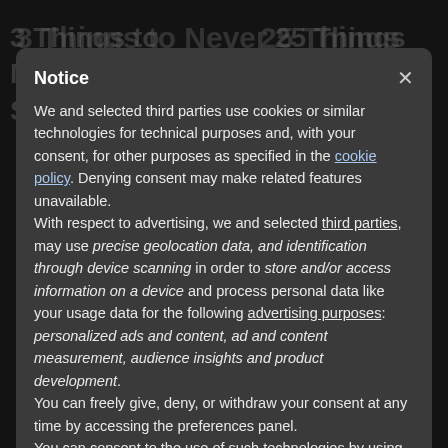[Figure (screenshot): Dark website background showing partially visible article titles: '3 Things to Never Say to an Actor', '25 Things About Filmmaking', and other text content obscured by modal overlay]
Notice
We and selected third parties use cookies or similar technologies for technical purposes and, with your consent, for other purposes as specified in the cookie policy. Denying consent may make related features unavailable.
With respect to advertising, we and selected third parties, may use precise geolocation data, and identification through device scanning in order to store and/or access information on a device and process personal data like your usage data for the following advertising purposes: personalized ads and content, ad and content measurement, audience insights and product development.
You can freely give, deny, or withdraw your consent at any time by accessing the preferences panel.
You can consent to the use of such technologies by using the
Accept
Learn more and customize